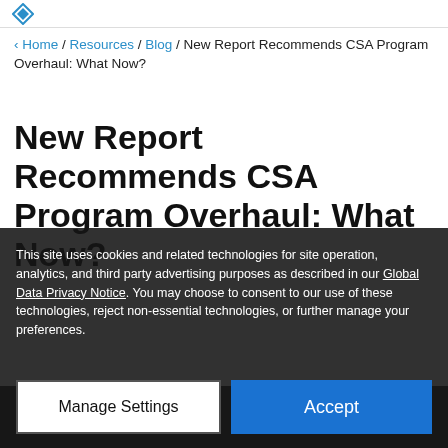< Home / Resources / Blog / New Report Recommends CSA Program Overhaul: What Now?
New Report Recommends CSA Program Overhaul: What Now?
This site uses cookies and related technologies for site operation, analytics, and third party advertising purposes as described in our Global Data Privacy Notice. You may choose to consent to our use of these technologies, reject non-essential technologies, or further manage your preferences.
Manage Settings | Accept